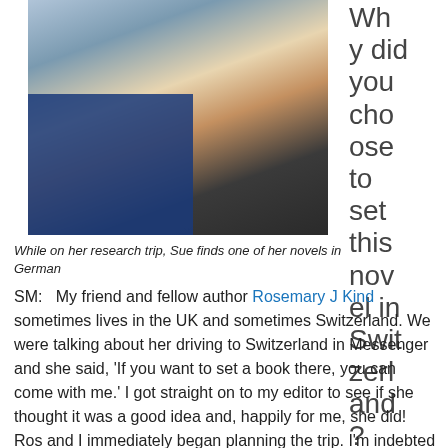[Figure (photo): Woman smiling at a book signing table with stacks of books behind her, displayed at what appears to be a bookshop or fair]
While on her research trip, Sue finds one of her novels in German
Why did you choose to set this novel in Switzerland?
SM:   My friend and fellow author Rosemary J Kind sometimes lives in the UK and sometimes Switzerland. We were talking about her driving to Switzerland in Messenger and she said, 'If you want to set a book there, you can come with me.' I got straight on to my editor to see if she thought it was a good idea and, happily for me, she did! Ros and I immediately began planning the trip. I'm indebted to her